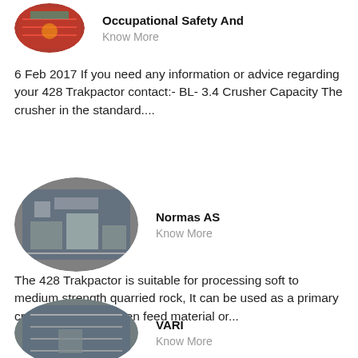[Figure (photo): Oval thumbnail image of industrial equipment with orange/red background at top left]
Occupational Safety And
Know More
6 Feb 2017 If you need any information or advice regarding your 428 Trakpactor contact:- BL- 3.4 Crusher Capacity The crusher in the standard....
[Figure (photo): Oval thumbnail image of industrial crusher/machinery stacked in a warehouse]
Normas AS
Know More
The 428 Trakpactor is suitable for processing soft to medium strength quarried rock, It can be used as a primary crusher for well broken feed material or...
[Figure (photo): Oval thumbnail image of industrial building interior/roof structure]
VARI
Know More